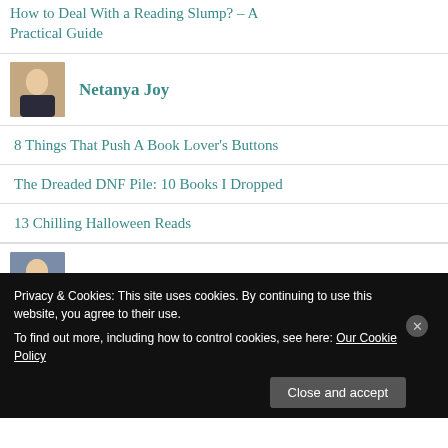How to Deal With a Reading Slump? – A Practical Guide
Netanya Joy
8 Things That Push A Book Lover's Buttons
The Dreaded DNF Pile: 10 Books I Dropped
13 Chilling Halloween Reads
S.E. White
Privacy & Cookies: This site uses cookies. By continuing to use this website, you agree to their use.
To find out more, including how to control cookies, see here: Our Cookie Policy
Close and accept